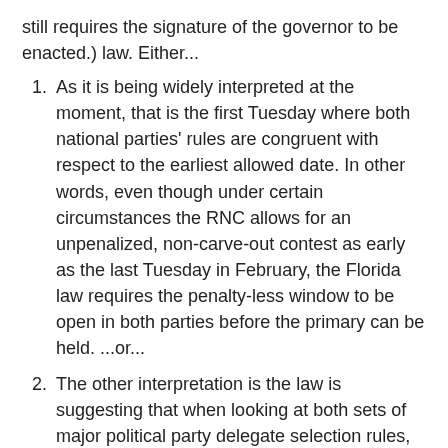still requires the signature of the governor to be enacted.) law. Either...
As it is being widely interpreted at the moment, that is the first Tuesday where both national parties' rules are congruent with respect to the earliest allowed date. In other words, even though under certain circumstances the RNC allows for an unpenalized, non-carve-out contest as early as the last Tuesday in February, the Florida law requires the penalty-less window to be open in both parties before the primary can be held. ...or...
The other interpretation is the law is suggesting that when looking at both sets of major political party delegate selection rules, the state can hold a primary at the earliest point allowed by either parties' rules.
It is not clear which is correct, which is why FHQ is of the opinion that the Florida legislature will revisit this segment of the law (if signed) in future sessions. The first interpretation begs for the addition of a both whereas the second interpretation seemingly requires an either. Either way, one